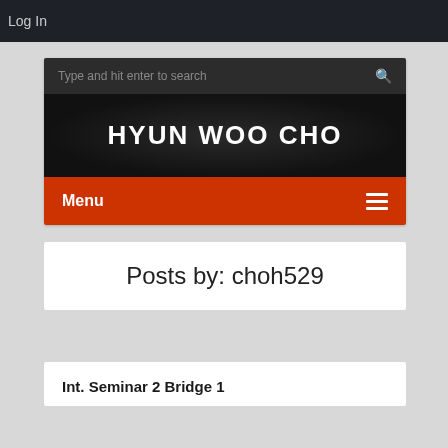Log In
[Figure (screenshot): Website header for 'HYUN WOO CHO' with a search bar at top, bold white title text on dark background, and a red navigation menu bar with 'Menu' text and hamburger icon]
Posts by: choh529
Int. Seminar 2 Bridge 1